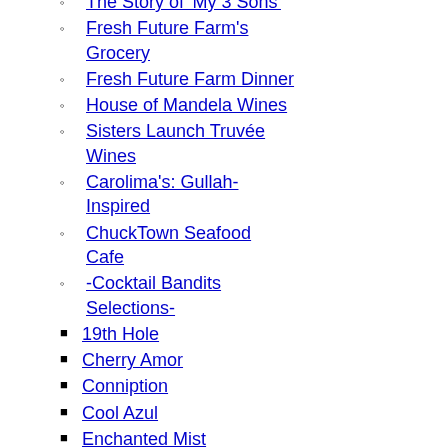The Story of 'My 3 Sons'
Fresh Future Farm's Grocery
Fresh Future Farm Dinner
House of Mandela Wines
Sisters Launch Truvée Wines
Carolima's: Gullah-Inspired
ChuckTown Seafood Cafe
-Cocktail Bandits Selections-
19th Hole
Cherry Amor
Conniption
Cool Azul
Enchanted Mist
Heisenburg
Master Key
Peach Fuzz
Purple Kiss
Relaspe
Rose Mojito with Naked Turtle